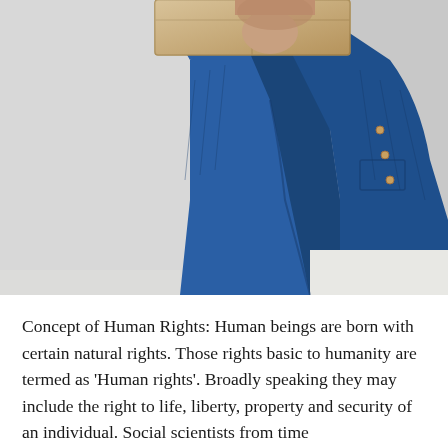[Figure (photo): A man wearing a white t-shirt and blue denim jacket, holding a cardboard box raised above/behind his head, photographed from roughly chest level against a light grey background.]
Concept of Human Rights: Human beings are born with certain natural rights. Those rights basic to humanity are termed as 'Human rights'. Broadly speaking they may include the right to life, liberty, property and security of an individual. Social scientists from time